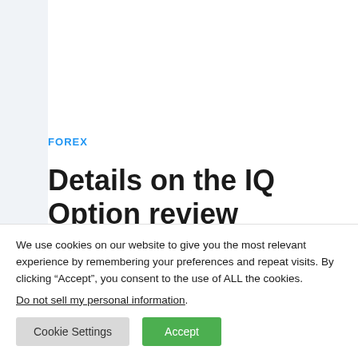FOREX
Details on the IQ Option review
We use cookies on our website to give you the most relevant experience by remembering your preferences and repeat visits. By clicking “Accept”, you consent to the use of ALL the cookies.
Do not sell my personal information.